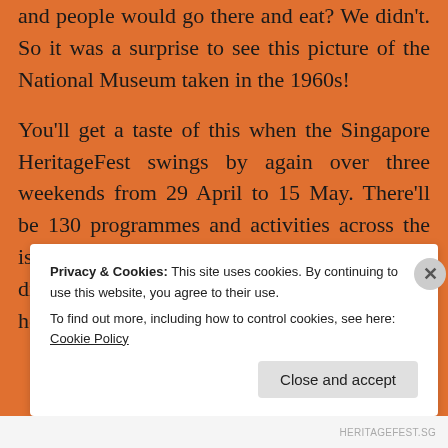and people would go there and eat? We didn't. So it was a surprise to see this picture of the National Museum taken in the 1960s!
You'll get a taste of this when the Singapore HeritageFest swings by again over three weekends from 29 April to 15 May. There'll be 130 programmes and activities across the island which people can take part in to discover the richness of our history and heritage.
Privacy & Cookies: This site uses cookies. By continuing to use this website, you agree to their use. To find out more, including how to control cookies, see here: Cookie Policy
HERITAGEFEST.SG